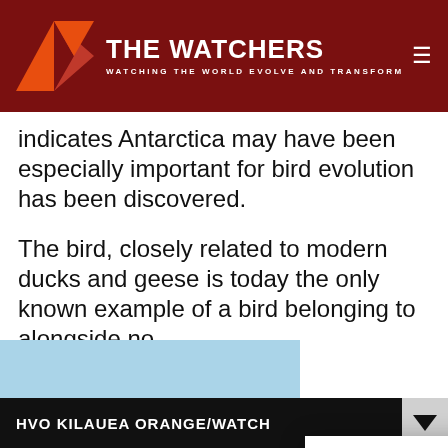THE WATCHERS — WATCHING THE WORLD EVOLVE AND TRANSFORM
indicates Antarctica may have been especially important for bird evolution has been discovered.
The bird, closely related to modern ducks and geese is today the only known example of a bird belonging to alongside no discovery, it modern bird dinosaurs we
We use cookies on our website to give you the most relevant experience by remembering your preferences and repeat visits. By clicking "Accept", you consent to the use of ALL the cookies. Do not sell my personal information.
HVO KILAUEA ORANGE/WATCH